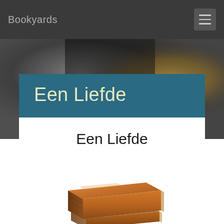Bookyards
[Figure (photo): Dark blurred background photo with grey and golden/amber tones suggesting a bookshelf or interior scene]
Een Liefde
Een Liefde
[Figure (illustration): Orange/brown stacked books icon illustration]